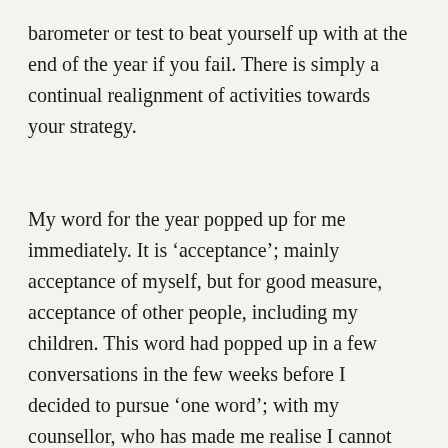barometer or test to beat yourself up with at the end of the year if you fail. There is simply a continual realignment of activities towards your strategy.
My word for the year popped up for me immediately. It is ‘acceptance’; mainly acceptance of myself, but for good measure, acceptance of other people, including my children. This word had popped up in a few conversations in the few weeks before I decided to pursue ‘one word’; with my counsellor, who has made me realise I cannot inure myself to the feelings of others, nor...